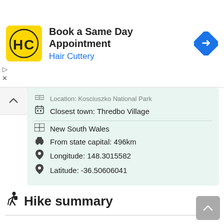[Figure (other): Hair Cuttery advertisement banner with logo, text 'Book a Same Day Appointment / Hair Cuttery', and a blue navigation arrow icon]
Location: Kosciuszko National Park
Closest town: Thredbo Village
New South Wales
From state capital: 496km
Longitude: 148.3015582
Latitude: -36.50606041
🧍Hike summary
This walk starts at Thredbo and follows the Riverside Track along the Thredbo River. The walk passes the golf course and heads through